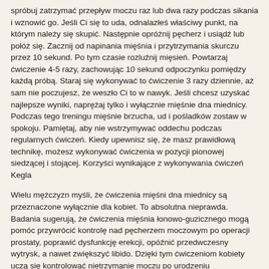spróbuj zatrzymać przepływ moczu raz lub dwa razy podczas sikania i wznowić go. Jeśli Ci się to uda, odnalazłeś właściwy punkt, na którym należy się skupić. Następnie opróżnij pęcherz i usiądź lub połóż się. Zacznij od napinania mięśnia i przytrzymania skurczu przez 10 sekund. Po tym czasie rozluźnij mięsień. Powtarzaj ćwiczenie 4-5 razy, zachowując 10 sekund odpoczynku pomiędzy każdą próbą. Staraj się wykonywać to ćwiczenie 3 razy dziennie, aż sam nie poczujesz, że weszło Ci to w nawyk. Jeśli chcesz uzyskać najlepsze wyniki, naprężaj tylko i wyłącznie mięśnie dna miednicy. Podczas tego treningu mięśnie brzucha, ud i pośladków zostaw w spokoju. Pamiętaj, aby nie wstrzymywać oddechu podczas regularnych ćwiczeń. Kiedy upewnisz się, że masz prawidłową technikę, możesz wykonywać ćwiczenia w pozycji pionowej siedzącej i stojącej. Korzyści wynikające z wykonywania ćwiczeń Kegla
Wielu mężczyzn myśli, że ćwiczenia mięśni dna miednicy są przeznaczone wyłącznie dla kobiet. To absolutna nieprawda. Badania sugerują, że ćwiczenia mięśnia łonowo-guzicznego mogą pomóc przywrócić kontrolę nad pęcherzem moczowym po operacji prostaty, poprawić dysfunkcję erekcji, opóźnić przedwczesny wytrysk, a nawet zwiększyć libido. Dzięki tym ćwiczeniom kobiety uczą się kontrolować nietrzymanie moczu po urodzeniu dziecka.Trening ten zapobiega wypadaniu pęcherza, powstawaniu problemów z wypróżnianiem się i seksualnością oraz zmniejsza ryzyko obniżania narządów rodnych i dolegliwości takich jak wypadanie macicy.